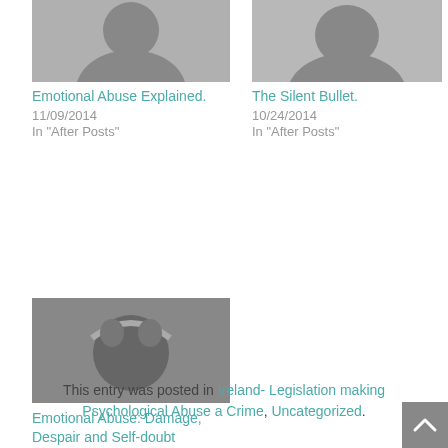[Figure (photo): Black and white photo of person (top, left column), partially cropped]
Emotional Abuse Explained.
11/09/2014
In "After Posts"
[Figure (photo): Black and white photo of person (top, right column), partially cropped]
The Silent Bullet.
10/24/2014
In "After Posts"
[Figure (photo): Black and white photo of person hunched over with hands raised (bottom, left column)]
Emotional Abuse: Damage, Despair and Self-doubt
05/26/2015
In "After Posts"
This entry was posted in Ireland- Legislation making Psychological Abuse a Crime, Uncategorized.